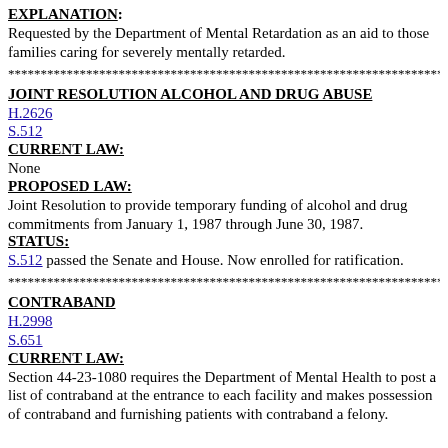EXPLANATION:
Requested by the Department of Mental Retardation as an aid to those families caring for severely mentally retarded.
********************************************************************************
JOINT RESOLUTION ALCOHOL AND DRUG ABUSE
H.2626
S.512
CURRENT LAW:
None
PROPOSED LAW:
Joint Resolution to provide temporary funding of alcohol and drug commitments from January 1, 1987 through June 30, 1987.
STATUS:
S.512 passed the Senate and House. Now enrolled for ratification.
********************************************************************************
CONTRABAND
H.2998
S.651
CURRENT LAW:
Section 44-23-1080 requires the Department of Mental Health to post a list of contraband at the entrance to each facility and makes possession of contraband and furnishing patients with contraband a felony.